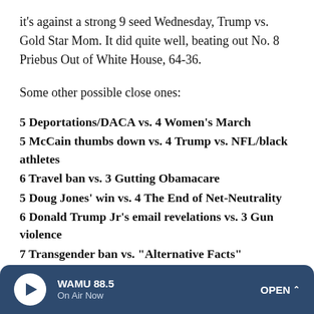it's against a strong 9 seed Wednesday, Trump vs. Gold Star Mom. It did quite well, beating out No. 8 Priebus Out of White House, 64-36.
Some other possible close ones:
5 Deportations/DACA vs. 4 Women's March
5 McCain thumbs down vs. 4 Trump vs. NFL/black athletes
6 Travel ban vs. 3 Gutting Obamacare
5 Doug Jones' win vs. 4 The End of Net-Neutrality
6 Donald Trump Jr's email revelations vs. 3 Gun violence
7 Transgender ban vs. "Alternative Facts"
6 North Korea missile tests/"Rocket Man" vs. Gorsuch to
WAMU 88.5 | On Air Now | OPEN